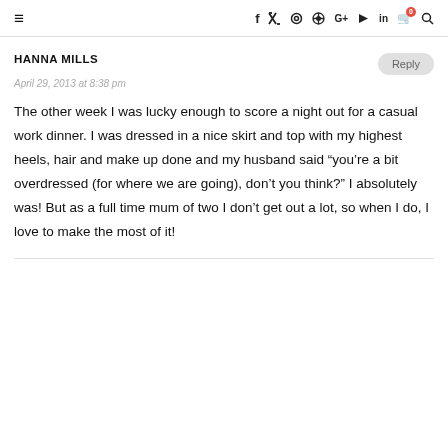≡  f  𝕏  ◎  ⊕  G+  ▶  in  🛒0  🔍
HANNA MILLS
April 29, 2013 at 8:38 pm
The other week I was lucky enough to score a night out for a casual work dinner. I was dressed in a nice skirt and top with my highest heels, hair and make up done and my husband said “you’re a bit overdressed (for where we are going), don’t you think?” I absolutely was! But as a full time mum of two I don’t get out a lot, so when I do, I love to make the most of it!